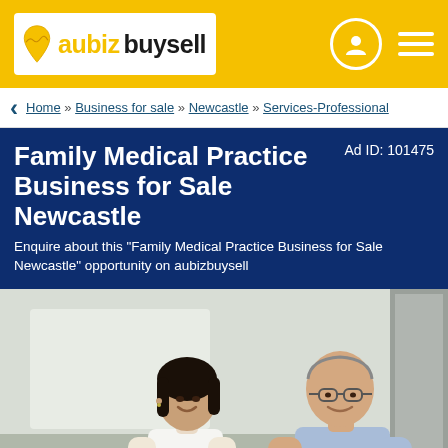aubizbuysell
Home » Business for sale » Newcastle » Services-Professional
Family Medical Practice Business for Sale Newcastle
Ad ID: 101475
Enquire about this "Family Medical Practice Business for Sale Newcastle" opportunity on aubizbuysell
[Figure (photo): Photo of a female nurse/receptionist with dark hair smiling, handing papers to an older bald male doctor wearing glasses and a light blue shirt, in a medical office setting]